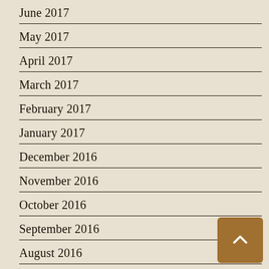June 2017
May 2017
April 2017
March 2017
February 2017
January 2017
December 2016
November 2016
October 2016
September 2016
August 2016
July 2016